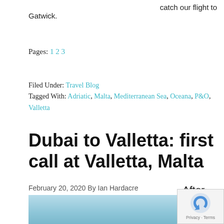catch our flight to Gatwick.
Pages: 1 2 3
Filed Under: Travel Blog
Tagged With: Adriatic, Malta, Mediterranean Sea, Oceana, P&O, Valletta
Dubai to Valletta: first call at Valletta, Malta
February 20, 2020 By Ian Hardacre
After seven sea